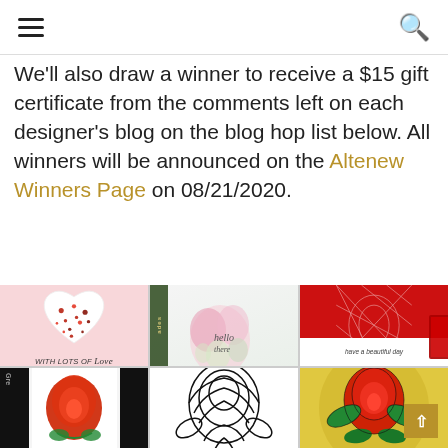Navigation header with hamburger menu and search icon
We'll also draw a winner to receive a $15 gift certificate from the comments left on each designer's blog on the blog hop list below. All winners will be announced on the Altenew Winners Page on 08/21/2020.
[Figure (photo): Grid of six handmade greeting cards: pink heart card with confetti hearts, floral watercolor card with 'hello there', red geometric stencil card with 'have a beautiful day', black background with red rose in white frame, peony outline black and white card, and gold/yellow card with red rose.]